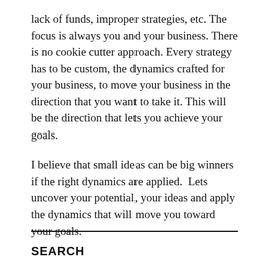lack of funds, improper strategies, etc. The focus is always you and your business. There is no cookie cutter approach. Every strategy has to be custom, the dynamics crafted for your business, to move your business in the direction that you want to take it. This will be the direction that lets you achieve your goals.
I believe that small ideas can be big winners if the right dynamics are applied.  Lets uncover your potential, your ideas and apply the dynamics that will move you toward your goals.
SEARCH